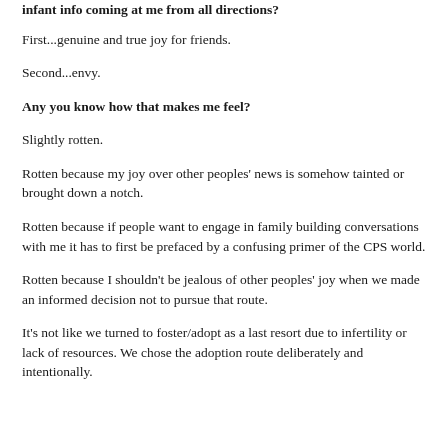infant info coming at me from all directions?
First...genuine and true joy for friends.
Second...envy.
Any you know how that makes me feel?
Slightly rotten.
Rotten because my joy over other peoples' news is somehow tainted or brought down a notch.
Rotten because if people want to engage in family building conversations with me it has to first be prefaced by a confusing primer of the CPS world.
Rotten because I shouldn't be jealous of other peoples' joy when we made an informed decision not to pursue that route.
It's not like we turned to foster/adopt as a last resort due to infertility or lack of resources. We chose the adoption route deliberately and intentionally.